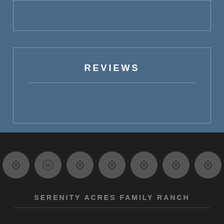[Figure (screenshot): Top decorative bordered box on blue background]
REVIEWS
[Figure (infographic): Row of 7 circular social media / brand icon buttons on dark background]
SERENITY ACRES FAMILY RANCH